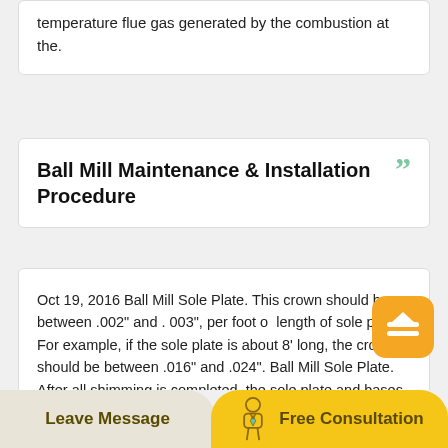temperature flue gas generated by the combustion at the.
Ball Mill Maintenance & Installation Procedure
Oct 19, 2016 Ball Mill Sole Plate. This crown should be between .002" and . 003", per foot of length of sole plate. For example, if the sole plate is about 8' long, the crown should be between .016" and .024". Ball Mill Sole Plate. After all shimming is completed, the sole plate and bases should be.
Leave Message   Free Consultation